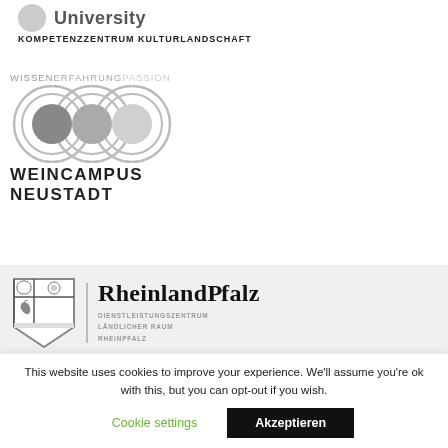[Figure (logo): Partial university logo with grey circle icon and text 'University']
KOMPETENZZENTRUM KULTURLANDSCHAFT
[Figure (logo): Weincampus Neustadt logo with WISSENERFAHRUNGPASSION tagline and infinity/circles symbol above WEINCAMPUS NEUSTADT text]
[Figure (logo): Rheinland-Pfalz state logo with coat of arms shield and text 'RheinlandPfalz / DIENSTLEISTUNGSZENTRUM / LÄNDLICHER RAUM / RHEINPFALZ']
This website uses cookies to improve your experience. We'll assume you're ok with this, but you can opt-out if you wish.
Cookie settings
Akzeptieren